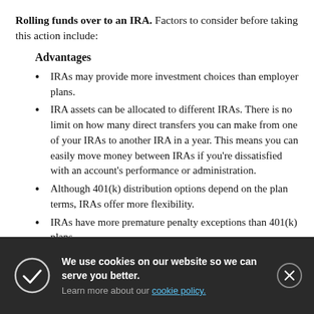Rolling funds over to an IRA. Factors to consider before taking this action include:
Advantages
IRAs may provide more investment choices than employer plans.
IRA assets can be allocated to different IRAs. There is no limit on how many direct transfers you can make from one of your IRAs to another IRA in a year. This means you can easily move money between IRAs if you’re dissatisfied with an account’s performance or administration.
Although 401(k) distribution options depend on the plan terms, IRAs offer more flexibility.
IRAs have more premature penalty exceptions than 401(k) plans.
Disadvantages
[Figure (other): Cookie consent banner with dark background, checkmark icon, close button, text 'We use cookies on our website so we can serve you better.' and link 'Learn more about our cookie policy.']